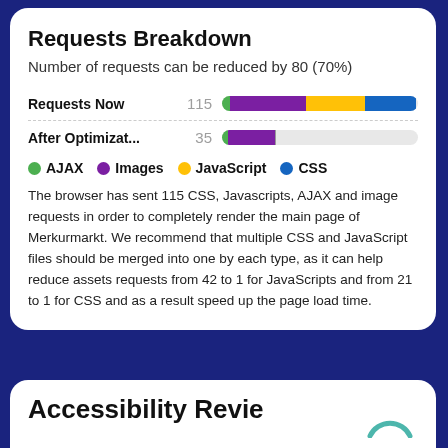Requests Breakdown
Number of requests can be reduced by 80 (70%)
[Figure (stacked-bar-chart): Requests Now vs After Optimization]
The browser has sent 115 CSS, Javascripts, AJAX and image requests in order to completely render the main page of Merkurmarkt. We recommend that multiple CSS and JavaScript files should be merged into one by each type, as it can help reduce assets requests from 42 to 1 for JavaScripts and from 21 to 1 for CSS and as a result speed up the page load time.
Accessibility Revie...